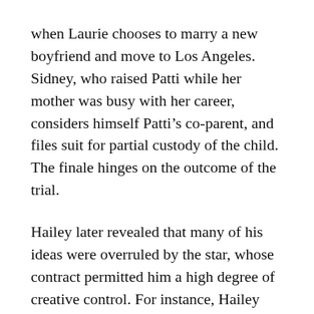when Laurie chooses to marry a new boyfriend and move to Los Angeles. Sidney, who raised Patti while her mother was busy with her career, considers himself Patti’s co-parent, and files suit for partial custody of the child. The finale hinges on the outcome of the trial.
Hailey later revealed that many of his ideas were overruled by the star, whose contract permitted him a high degree of creative control. For instance, Hailey wanted to provide details about Sidney’s ill-fated relationship with Martin, his ex-lover. He proposed that Martin might return and clash with Laurie, who had displaced him in the apartment. Hailey also imagined an exchange that could occur when Laurie revealed to Sidney that she was dating